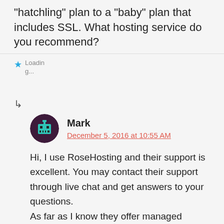“hatchling” plan to a “baby” plan that includes SSL. What hosting service do you recommend?
Loading...
↳
Mark
December 5, 2016 at 10:55 AM
Hi, I use RoseHosting and their support is excellent. You may contact their support through live chat and get answers to your questions.
As far as I know they offer managed support with their services and will help you to set up